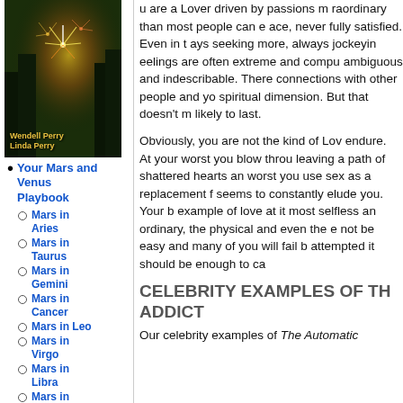[Figure (photo): Book cover with fireworks/forest background, authors Wendell Perry and Linda Perry]
Your Mars and Venus Playbook
Mars in Aries
Mars in Taurus
Mars in Gemini
Mars in Cancer
Mars in Leo
Mars in Virgo
Mars in Libra
Mars in Scorpio
Mars in
u are a Lover driven by passions m raordinary than most people can e ace, never fully satisfied. Even in t ays seeking more, always jockeyin eelings are often extreme and compu ambiguous and indescribable. There connections with other people and yo spiritual dimension. But that doesn't m likely to last.
Obviously, you are not the kind of Lov endure. At your worst you blow throu leaving a path of shattered hearts an worst you use sex as a replacement f seems to constantly elude you. Your b example of love at it most selfless an ordinary, the physical and even the e not be easy and many of you will fail attempted it should be enough to ca
CELEBRITY EXAMPLES OF TH ADDICT
Our celebrity examples of The Automatic